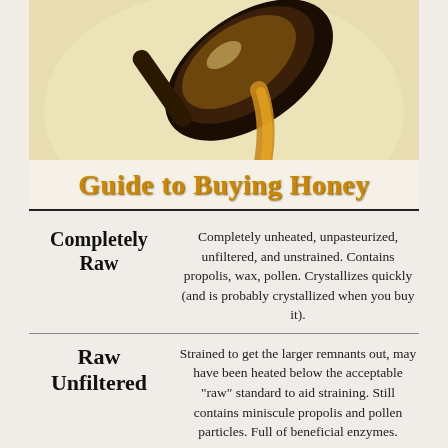[Figure (photo): Close-up photo of honey being poured from a spoon, showing dark amber honey dripping against a cream/beige background]
Guide to Buying Honey
Completely Raw — Completely unheated, unpasteurized, unfiltered, and unstrained. Contains propolis, wax, pollen. Crystallizes quickly (and is probably crystallized when you buy it).
Raw Unfiltered — Strained to get the larger remnants out, may have been heated below the acceptable "raw" standard to aid straining. Still contains miniscule propolis and pollen particles. Full of beneficial enzymes.
Creamed or Spun — Likely pasteurized, made with crystallized honey. "Spun" or blended to create a creamy consistency. Delicious, but not likely full of honey's beneficial properties